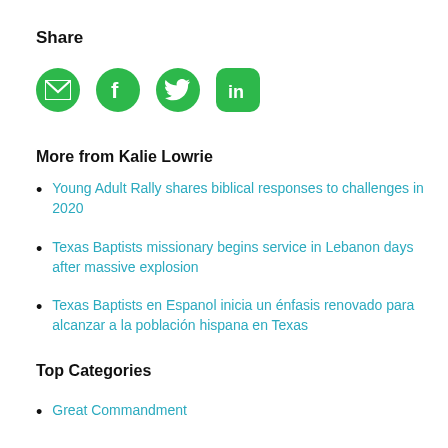Share
[Figure (infographic): Four social sharing icons in green: email (envelope), Facebook (f circle), Twitter (bird circle), LinkedIn (in rounded square)]
More from Kalie Lowrie
Young Adult Rally shares biblical responses to challenges in 2020
Texas Baptists missionary begins service in Lebanon days after massive explosion
Texas Baptists en Espanol inicia un énfasis renovado para alcanzar a la población hispana en Texas
Top Categories
Great Commandment